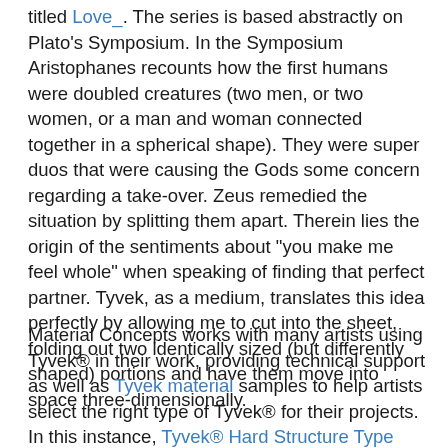titled Love_. The series is based abstractly on Plato's Symposium. In the Symposium Aristophanes recounts how the first humans were doubled creatures (two men, or two women, or a man and woman connected together in a spherical shape). They were super duos that were causing the Gods some concern regarding a take-over. Zeus remedied the situation by splitting them apart. Therein lies the origin of the sentiments about "you make me feel whole" when speaking of finding that perfect partner. Tyvek, as a medium, translates this idea perfectly by allowing me to cut into the sheet, folding out two identically sized (but differently shaped) portions and have them move into space three-dimensionally.
Material Concepts works with many artists using Tyvek® in their work, providing technical support as well as Tyvek material samples to help artists select the right type of Tyvek® for their projects. In this instance, Tyvek® Hard Structure Type 10G was a good match for what Ms. Ramsey wanted to do with this project.